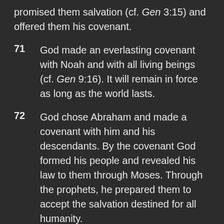promised them salvation (cf. Gen 3:15) and offered them his covenant.
71   God made an everlasting covenant with Noah and with all living beings (cf. Gen 9:16). It will remain in force as long as the world lasts.
72   God chose Abraham and made a covenant with him and his descendants. By the covenant God formed his people and revealed his law to them through Moses. Through the prophets, he prepared them to accept the salvation destined for all humanity.